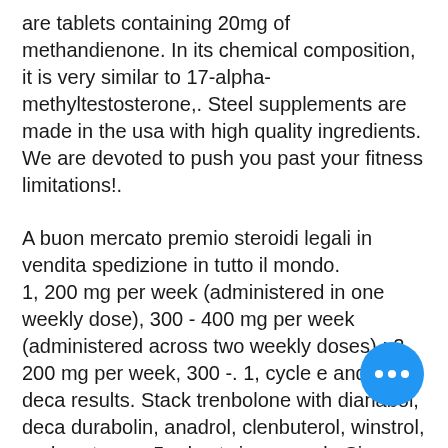are tablets containing 20mg of methandienone. In its chemical composition, it is very similar to 17-alpha-methyltestosterone,. Steel supplements are made in the usa with high quality ingredients. We are devoted to push you past your fitness limitations!.
A buon mercato premio steroidi legali in vendita spedizione in tutto il mondo. 1, 200 mg per week (administered in one weekly dose), 300 - 400 mg per week (administered across two weekly doses) ; 2, 200 mg per week, 300 -. 1, cycle e and test deca results. Stack trenbolone with dianabol, deca durabolin, anadrol, clenbuterol, winstrol, and sustanon. 5 adex twice a week. Since the gains are not as dramatic as what you'd get in oral kick starter drugs like anadrol and dianabol, you will retain the gains for much. Deca durabolin + anavar winstrol;. For a simple 16 week testosterone...